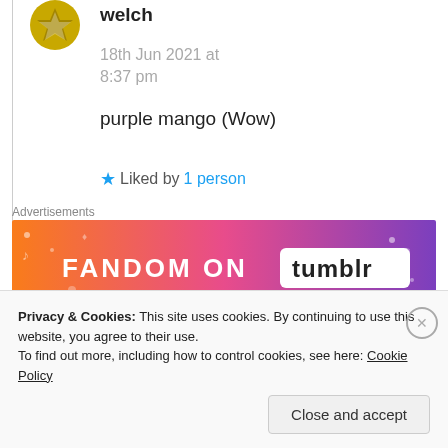welch
18th Jun 2021 at 8:37 pm
purple mango (Wow)
★ Liked by 1 person
Advertisements
[Figure (illustration): Fandom on Tumblr advertisement banner with orange-to-purple gradient and decorative icons]
REPORT THIS AD
Privacy & Cookies: This site uses cookies. By continuing to use this website, you agree to their use.
To find out more, including how to control cookies, see here: Cookie Policy
Close and accept